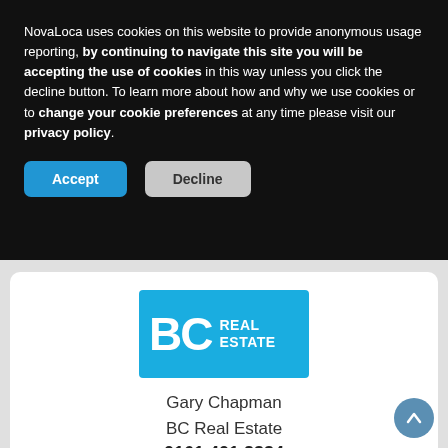NovaLoca uses cookies on this website to provide anonymous usage reporting, by continuing to navigate this site you will be accepting the use of cookies in this way unless you click the decline button. To learn more about how and why we use cookies or to change your cookie preferences at any time please visit our privacy policy.
[Figure (screenshot): Accept button (blue) and Decline button (grey) for cookie consent banner]
[Figure (logo): BC Real Estate logo — blue rectangle with white 'BC' large text and 'REAL ESTATE' text on right]
Gary Chapman
BC Real Estate
0161 401 2334